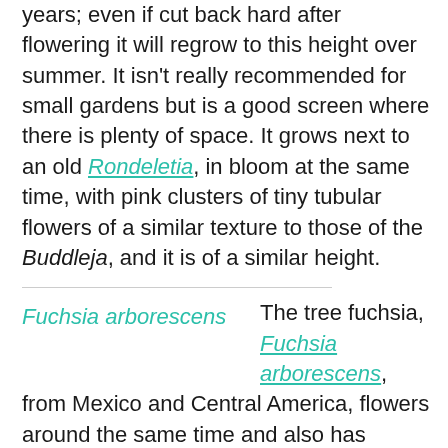years; even if cut back hard after flowering it will regrow to this height over summer. It isn't really recommended for small gardens but is a good screen where there is plenty of space. It grows next to an old Rondeletia, in bloom at the same time, with pink clusters of tiny tubular flowers of a similar texture to those of the Buddleja, and it is of a similar height.
Fuchsia arborescens [caption label left column]
The tree fuchsia, Fuchsia arborescens, from Mexico and Central America, flowers around the same time and also has clusters of diminutive blooms. It is quite unlike the usual Fuchsia hybrids, and can grow as tall as 5.5 m or more - but mine has never got higher than 2 m. Its rose-purple posies appear in winter and early spring, held above long, dark green leaves. I find it needs hard pruning after flowering, as it can get a bit straggly and woody